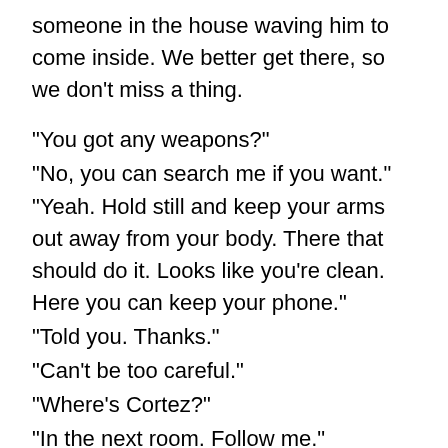someone in the house waving him to come inside. We better get there, so we don’t miss a thing.
“You got any weapons?”
“No, you can search me if you want.”
“Yeah. Hold still and keep your arms out away from your body. There that should do it. Looks like you’re clean. Here you can keep your phone.”
“Told you. Thanks.”
“Can’t be too careful.”
“Where’s Cortez?”
“In the next room. Follow me.”
“Ah, Larry, my good friend. Come in have a seat. Would you like anything to drink?”
“I could use a water, Joachim.”
“Of course. Anything for you. Juan, get him a water.”
“Sure, Joachim. I didn’t get myself into this one”